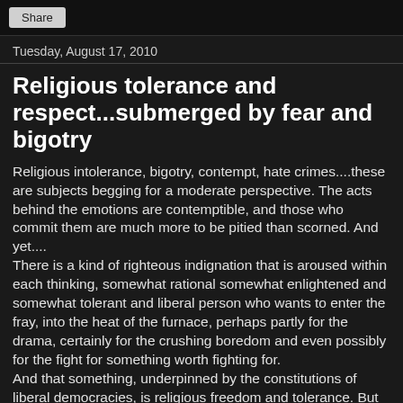Share
Tuesday, August 17, 2010
Religious tolerance and respect...submerged by fear and bigotry
Religious intolerance, bigotry, contempt, hate crimes....these are subjects begging for a moderate perspective. The acts behind the emotions are contemptible, and those who commit them are much more to be pitied than scorned. And yet....
There is a kind of righteous indignation that is aroused within each thinking, somewhat rational somewhat enlightened and somewhat tolerant and liberal person who wants to enter the fray, into the heat of the furnace, perhaps partly for the drama, certainly for the crushing boredom and even possibly for the fight for something worth fighting for.
And that something, underpinned by the constitutions of liberal democracies, is religious freedom and tolerance. But no matter how indelibly the words religious freedom and